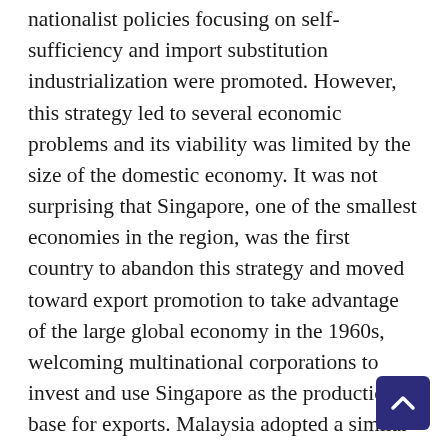nationalist policies focusing on self-sufficiency and import substitution industrialization were promoted. However, this strategy led to several economic problems and its viability was limited by the size of the domestic economy. It was not surprising that Singapore, one of the smallest economies in the region, was the first country to abandon this strategy and moved toward export promotion to take advantage of the large global economy in the 1960s, welcoming multinational corporations to invest and use Singapore as the production base for exports. Malaysia adopted a similar strategy in the 1970s while Thailand, Indonesia, and the Philippines followed later in the early to mid-1980s. After the disastrous failure of central planning and the eventual collapse of the Soviet Union, Vietnam and Lao PDR reformed their economies, opened up the countries, and welcomed foreign investors in the late 1980s as well. Cambodia